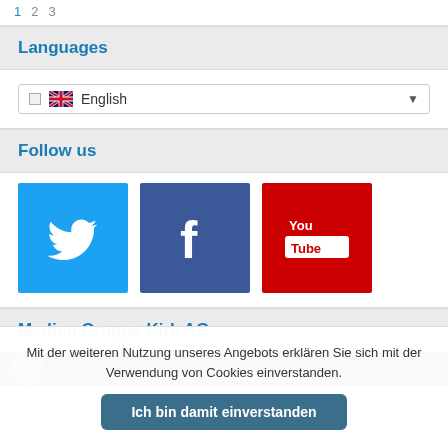1  2  3
Languages
[Figure (screenshot): Language selector dropdown showing UK flag and 'English' with a dropdown arrow]
Follow us
[Figure (infographic): Three social media icons: Twitter (blue bird), Facebook (blue f), YouTube (red You Tube)]
Medien Gruppe Kirk AG
[Figure (photo): Partially visible image strip]
Mit der weiteren Nutzung unseres Angebots erklären Sie sich mit der Verwendung von Cookies einverstanden.
Ich bin damit einverstanden